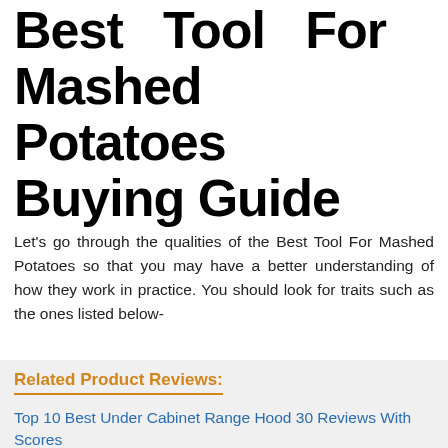Best Tool For Mashed Potatoes Buying Guide
Let's go through the qualities of the Best Tool For Mashed Potatoes so that you may have a better understanding of how they work in practice. You should look for traits such as the ones listed below-
Related Product Reviews:
Top 10 Best Under Cabinet Range Hood 30 Reviews With Scores
Top 10 Best Stir Fry Oil Reviews With Scores